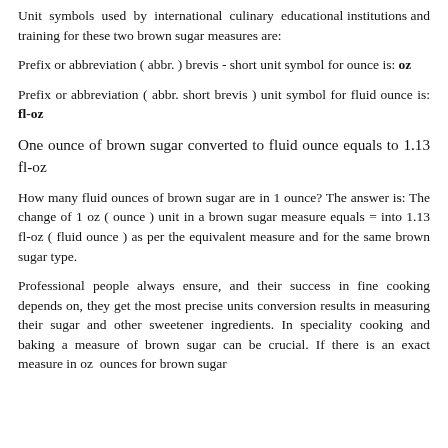Unit symbols used by international culinary educational institutions and training for these two brown sugar measures are:
Prefix or abbreviation ( abbr. ) brevis - short unit symbol for ounce is: oz
Prefix or abbreviation ( abbr. short brevis ) unit symbol for fluid ounce is: fl-oz
One ounce of brown sugar converted to fluid ounce equals to 1.13 fl-oz
How many fluid ounces of brown sugar are in 1 ounce? The answer is: The change of 1 oz ( ounce ) unit in a brown sugar measure equals = into 1.13 fl-oz ( fluid ounce ) as per the equivalent measure and for the same brown sugar type.
Professional people always ensure, and their success in fine cooking depends on, they get the most precise units conversion results in measuring their sugar and other sweetener ingredients. In speciality cooking and baking a measure of brown sugar can be crucial. If there is an exact measure in oz - ounces for brown sugar